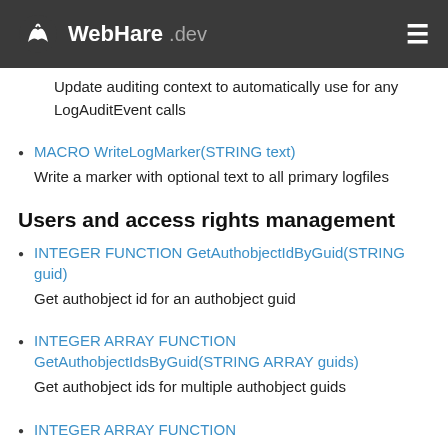WebHare .dev
Update auditing context to automatically use for any LogAuditEvent calls
MACRO WriteLogMarker(STRING text)
Write a marker with optional text to all primary logfiles
Users and access rights management
INTEGER FUNCTION GetAuthobjectIdByGuid(STRING guid)
Get authobject id for an authobject guid
INTEGER ARRAY FUNCTION GetAuthobjectIdsByGuid(STRING ARRAY guids)
Get authobject ids for multiple authobject guids
INTEGER ARRAY FUNCTION